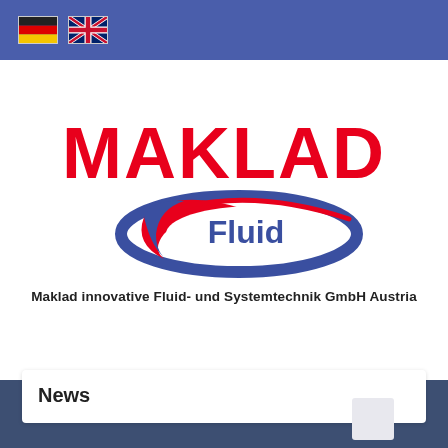[Figure (logo): Navigation bar with German and UK flag icons on blue background]
[Figure (logo): MAKLAD Fluid company logo — MAKLAD in large red bold text above an oval swoosh graphic with 'Fluid' text in dark blue]
Maklad innovative Fluid- und Systemtechnik GmbH Austria
[Figure (other): Dark blue/slate horizontal band]
News